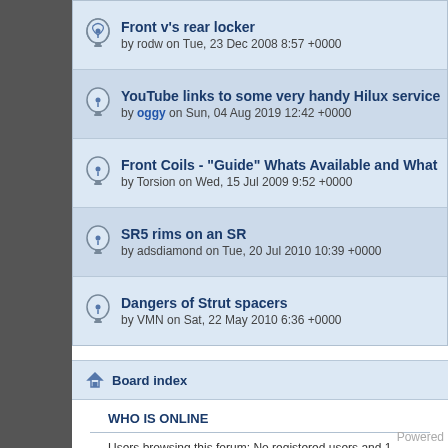Front v's rear locker by rodw on Tue, 23 Dec 2008 8:57 +0000
YouTube links to some very handy Hilux service inform by oggy on Sun, 04 Aug 2019 12:42 +0000
Front Coils - "Guide" Whats Available and What Spec's by Torsion on Wed, 15 Jul 2009 9:52 +0000
SR5 rims on an SR by adsdiamond on Tue, 20 Jul 2010 10:39 +0000
Dangers of Strut spacers by VMN on Sat, 22 May 2010 6:36 +0000
Return to Board index
WHO IS ONLINE
Users browsing this forum: No registered users and 1 guest
Board index
Powered